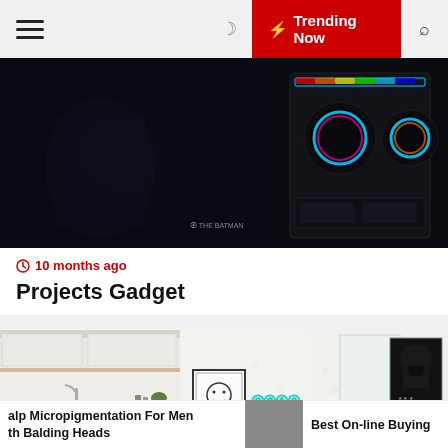☰  ☽  ⚡ Trending Now  🔍
[Figure (photo): Dark gaming setup showing a monitor with a dark game scene on the left and an RGB gaming PC case with colorful fans on the right]
🕐 10 months ago
Projects Gadget
[Figure (photo): Bright modern interior room with a white kitchen on the left side, a framed art print and neon sign in the center, and a Darth Vader poster on the right with textured white wall]
alp Micropigmentation For Men th Balding Heads
Best On-line Buying